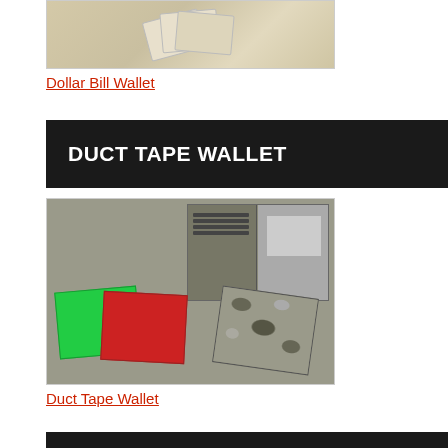[Figure (photo): Top portion of a dollar bill wallet or card wallet displayed fanning out, with beige/cream colored cards visible against a light background]
Dollar Bill Wallet
DUCT TAPE WALLET
[Figure (photo): Three duct tape wallets displayed on a brown surface: a green wallet on the left, a red wallet in the middle, and a camouflage-patterned wallet on the right. An open camouflage wallet is visible in the background showing inner pockets.]
Duct Tape Wallet